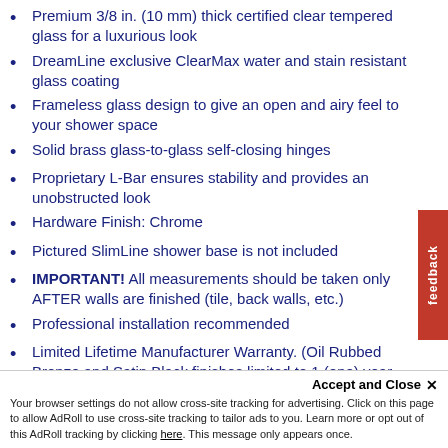Premium 3/8 in. (10 mm) thick certified clear tempered glass for a luxurious look
DreamLine exclusive ClearMax water and stain resistant glass coating
Frameless glass design to give an open and airy feel to your shower space
Solid brass glass-to-glass self-closing hinges
Proprietary L-Bar ensures stability and provides an unobstructed look
Hardware Finish: Chrome
Pictured SlimLine shower base is not included
IMPORTANT! All measurements should be taken only AFTER walls are finished (tile, back walls, etc.)
Professional installation recommended
Limited Lifetime Manufacturer Warranty. (Oil Rubbed Bronze and Satin Black finishes limited to 1 (one) year warranty)
Drilling into the threshold is required for installation of this product
Accept and Close ×
Your browser settings do not allow cross-site tracking for advertising. Click on this page to allow AdRoll to use cross-site tracking to tailor ads to you. Learn more or opt out of this AdRoll tracking by clicking here. This message only appears once.